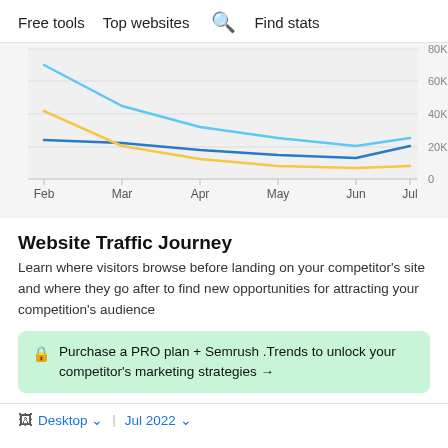Free tools   Top websites   🔍 Find stats
[Figure (line-chart): ]
Website Traffic Journey
Learn where visitors browse before landing on your competitor's site and where they go after to find new opportunities for attracting your competition's audience
🔒  Purchase a PRO plan + Semrush .Trends to unlock your competitor's marketing strategies →
🖥 Desktop ∨  |  Jul 2022 ∨